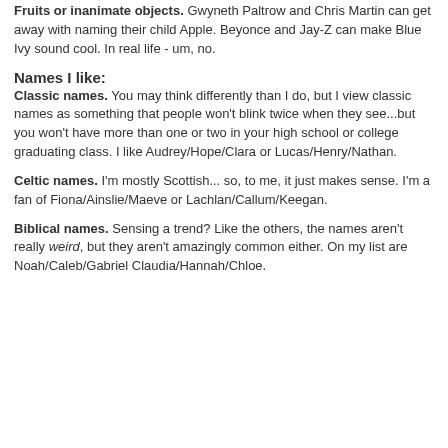Fruits or inanimate objects. Gwyneth Paltrow and Chris Martin can get away with naming their child Apple.  Beyonce and Jay-Z can make Blue Ivy sound cool.  In real life - um, no.
Names I like:
Classic names. You may think differently than I do, but I view classic names as something that people won't blink twice when they see...but you won't have more than one or two in your high school or college graduating class.  I like Audrey/Hope/Clara or Lucas/Henry/Nathan.
Celtic names. I'm mostly Scottish... so, to me, it just makes sense.  I'm a fan of Fiona/Ainslie/Maeve or Lachlan/Callum/Keegan.
Biblical names. Sensing a trend?  Like the others, the names aren't really weird, but they aren't amazingly common either.  On my list are Noah/Caleb/Gabriel Claudia/Hannah/Chloe.